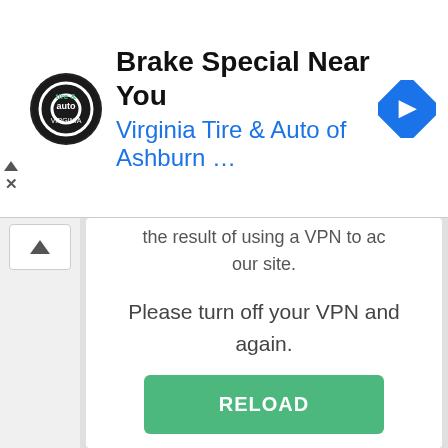[Figure (screenshot): Advertisement banner: Virginia Tire & Auto of Ashburn - Brake Special Near You, with logo and navigation icon]
the result of using a VPN to ac our site.
Please turn off your VPN and again.
[Figure (screenshot): Green RELOAD button]
Ray ID: 7423791138215db5
Timestamp: 2022-08-29 07:11:29 UTC
Your IP address: 34.204.170.165
Requested URL: gleam.io/hhUrl/embel=https%3A%2F%2Fwww.mummaandhermonto-train-your-pelvic-floor-ft.html%3FshowComment%3D1552258058
Error reference number: 1020
Server ID: FL_351F116
User Agent: Mozilla/5.0 (iPhone; C